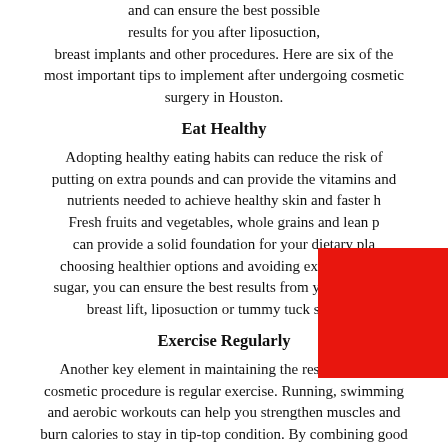and can ensure the best possible results for you after liposuction, breast implants and other procedures. Here are six of the most important tips to implement after undergoing cosmetic surgery in Houston.
Eat Healthy
Adopting healthy eating habits can reduce the risk of putting on extra pounds and can provide the vitamins and nutrients needed to achieve healthy skin and faster h… Fresh fruits and vegetables, whole grains and lean p… can provide a solid foundation for your dietary pla… choosing healthier options and avoiding excess fat and sugar, you can ensure the best results from your Houston breast lift, liposuction or tummy tuck surgery.
Exercise Regularly
Another key element in maintaining the results of your cosmetic procedure is regular exercise. Running, swimming and aerobic workouts can help you strengthen muscles and burn calories to stay in tip-top condition. By combining good